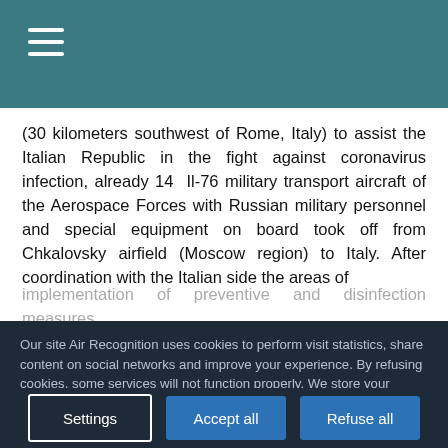☰
(30 kilometers southwest of Rome, Italy) to assist the Italian Republic in the fight against coronavirus infection, already 14 Il-76 military transport aircraft of the Aerospace Forces with Russian military personnel and special equipment on board took off from Chkalovsky airfield (Moscow region) to Italy. After coordination with the Italian side the areas of implementation of preventive and disinfection measures
Our site Air Recognition uses cookies to perform visit statistics, share content on social networks and improve your experience. By refusing cookies, some services will not function properly. We store your choice for 30 days. You can change your mind by clicking on the 'Cookies' button at the bottom left of every page of our site. Learn more
Settings
Accept all
Refuse all